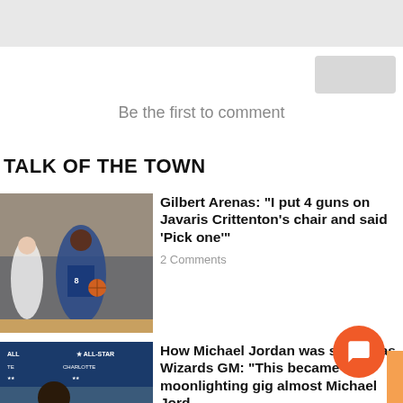Be the first to comment
TALK OF THE TOWN
[Figure (photo): Basketball players in game action, player in blue Wizards jersey dribbling]
Gilbert Arenas: "I put 4 guns on Javaris Crittenton's chair and said 'Pick one'"
2 Comments
[Figure (photo): Man in suit at NBA All-Star Charlotte event, Michael Jordan]
How Michael Jordan was sacked as Wizards GM: “This became a moonlighting gig almost Michael Jord...
2 Comments